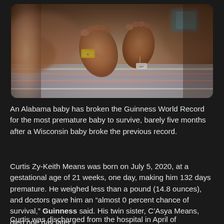[Figure (photo): Close-up photo of a premature newborn baby's feet with hospital identification tags, lying on a striped blanket in what appears to be a NICU setting.]
An Alabama baby has broken the Guinness World Record for the most premature baby to survive, barely five months after a Wisconsin baby broke the previous record.
Curtis Zy-Keith Means was born on July 5, 2020, at a gestational age of 21 weeks, one day, making him 132 days premature. He weighed less than a pound (14.8 ounces), and doctors gave him an “almost 0 percent chance of survival,” Guinness said. His twin sister, C’Asya Means, died one day later.
Curtis was discharged from the hospital in April of